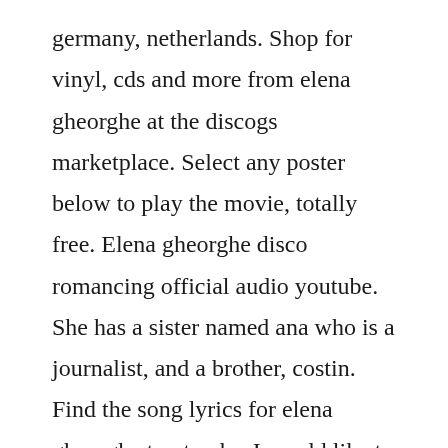germany, netherlands. Shop for vinyl, cds and more from elena gheorghe at the discogs marketplace. Select any poster below to play the movie, totally free. Elena gheorghe disco romancing official audio youtube. She has a sister named ana who is a journalist, and a brother, costin. Find the song lyrics for elena gheorghe top tracks. I would like to thank all those that came to our youth service, i would also like to extend my welcome to the new visitors. She is listed on freeones since 2015 and is currently ranked 42582th place. Download elena luna alba original radio edit